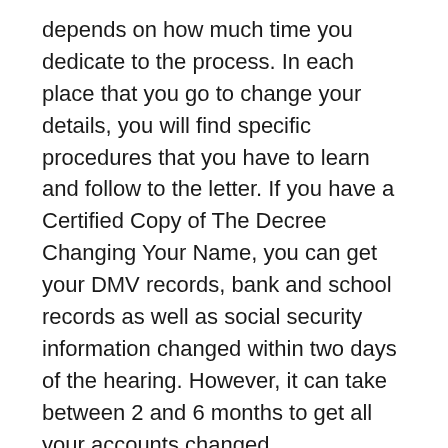depends on how much time you dedicate to the process. In each place that you go to change your details, you will find specific procedures that you have to learn and follow to the letter. If you have a Certified Copy of The Decree Changing Your Name, you can get your DMV records, bank and school records as well as social security information changed within two days of the hearing. However, it can take between 2 and 6 months to get all your accounts changed.
A Summary on How Long You Require to Get Your Name Changed in California
To prepare a Name Change petition, it can take between 3 and 6 hours or even more. However,